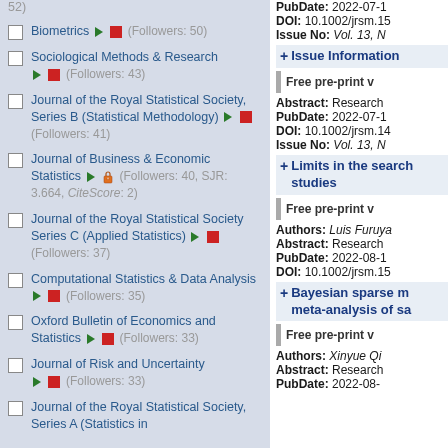Biometrics (Followers: 50)
Sociological Methods & Research (Followers: 43)
Journal of the Royal Statistical Society, Series B (Statistical Methodology) (Followers: 41)
Journal of Business & Economic Statistics (Followers: 40, SJR: 3.664, CiteScore: 2)
Journal of the Royal Statistical Society Series C (Applied Statistics) (Followers: 37)
Computational Statistics & Data Analysis (Followers: 35)
Oxford Bulletin of Economics and Statistics (Followers: 33)
Journal of Risk and Uncertainty (Followers: 33)
Journal of the Royal Statistical Society, Series A (Statistics in Society)
Issue Information
Free pre-print v
Abstract: Research
PubDate: 2022-07-1
DOI: 10.1002/jrsm.14
Issue No: Vol. 13, N
Limits in the search studies
Free pre-print v
Authors: Luis Furuya
Abstract: Research
PubDate: 2022-08-1
DOI: 10.1002/jrsm.15
Bayesian sparse m meta-analysis of sa
Free pre-print v
Authors: Xinyue Qi
Abstract: Research
PubDate: 2022-08-